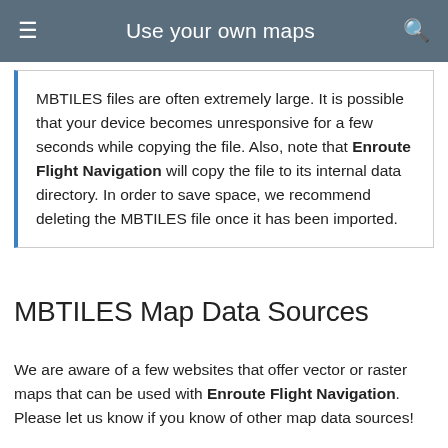Use your own maps
MBTILES files are often extremely large. It is possible that your device becomes unresponsive for a few seconds while copying the file. Also, note that Enroute Flight Navigation will copy the file to its internal data directory. In order to save space, we recommend deleting the MBTILES file once it has been imported.
MBTILES Map Data Sources
We are aware of a few websites that offer vector or raster maps that can be used with Enroute Flight Navigation. Please let us know if you know of other map data sources!
The website maptiler data provides excellent vector